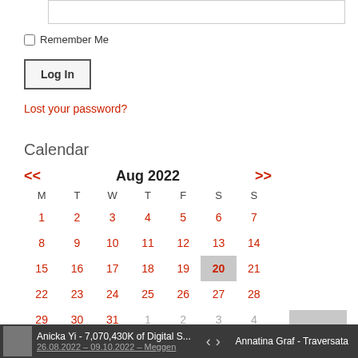[Figure (screenshot): Password input field (text box, empty)]
Remember Me
Log In
Lost your password?
Calendar
[Figure (other): Calendar widget showing August 2022. Navigation arrows << and >>. Days M T W T F S S. Dates 1-31 in red. Date 20 highlighted with grey background. Last row includes greyed-out dates 1, 2, 3, 4 from next month.]
Latest Exhibitions
Anicka Yi - 7,070,430K of Digital S... < > Annatina Graf - Traversata 26.08.2022 - 09.10.2022 - Meggen